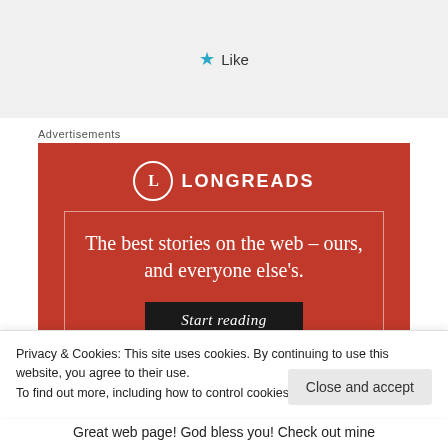Like
Advertisements
[Figure (illustration): Longreads advertisement banner on red background. Contains Longreads logo (circle with L), tagline 'The best stories on the web – ours, and everyone else's.' and a 'Start reading' button.]
Privacy & Cookies: This site uses cookies. By continuing to use this website, you agree to their use.
To find out more, including how to control cookies, see here: Cookie Policy
Close and accept
Great web page! God bless you! Check out mine